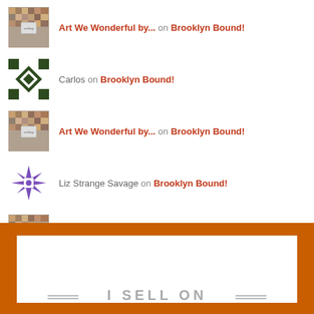Art We Wonderful by... on Brooklyn Bound!
Carlos on Brooklyn Bound!
Art We Wonderful by... on Brooklyn Bound!
Liz Strange Savage on Brooklyn Bound!
Art We Wonderful by... on Brooklyn Bound!
[Figure (infographic): Orange bordered banner at the bottom with white inner area and partially visible text 'I SELL ON' in gray with decorative dash lines]